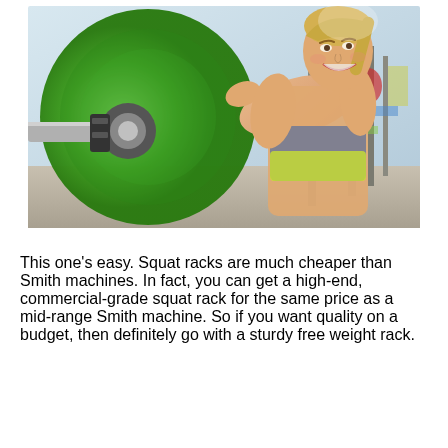[Figure (photo): A young blonde woman in a gym wearing a gray and yellow sports bra, smiling while handling a large green weight plate on a barbell. The gym background shows equipment and other people.]
This one's easy. Squat racks are much cheaper than Smith machines. In fact, you can get a high-end, commercial-grade squat rack for the same price as a mid-range Smith machine. So if you want quality on a budget, then definitely go with a sturdy free weight rack.